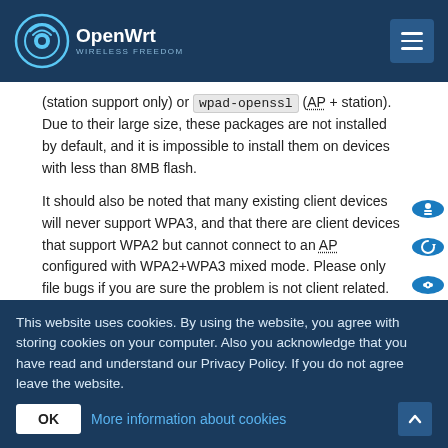OpenWrt
(station support only) or wpad-openssl (AP + station). Due to their large size, these packages are not installed by default, and it is impossible to install them on devices with less than 8MB flash.
It should also be noted that many existing client devices will never support WPA3, and that there are client devices that support WPA2 but cannot connect to an AP configured with WPA2+WPA3 mixed mode. Please only file bugs if you are sure the problem is not client related.
To configure your device as a WPA3 access point, see wpa_modes
Client-side rendering of the LuCI
This website uses cookies. By using the website, you agree with storing cookies on your computer. Also you acknowledge that you have read and understand our Privacy Policy. If you do not agree leave the website.